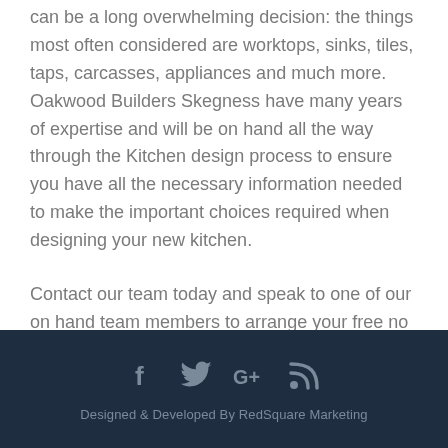can be a long overwhelming decision: the things most often considered are worktops, sinks, tiles, taps, carcasses, appliances and much more. Oakwood Builders Skegness have many years of expertise and will be on hand all the way through the Kitchen design process to ensure you have all the necessary information needed to make the important choices required when designing your new kitchen.
Contact our team today and speak to one of our on hand team members to arrange your free no obligation quotation :
Designed & Developed By RedSquare Marketing